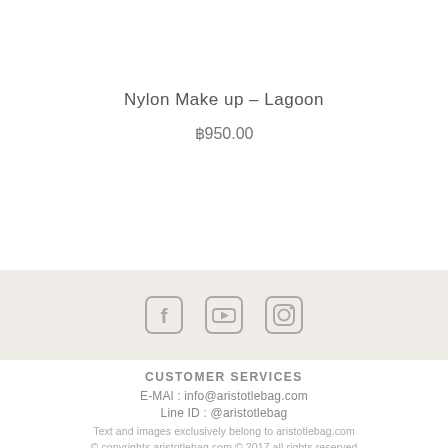Nylon Make up – Lagoon
฿950.00
[Figure (illustration): Social media icons: Facebook, YouTube, Instagram in gray on light beige background]
CUSTOMER SERVICES
E-MAl : info@aristotlebag.com
Line ID : @aristotlebag
Text and images exclusively belong to aristotlebag.com
© copyrights aristotlebag.com © 2017 all rights reserved